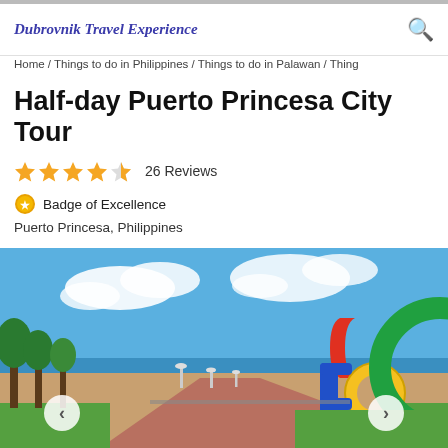Dubrovnik Travel Experience
Home / Things to do in Philippines / Things to do in Palawan / Thing
Half-day Puerto Princesa City Tour
★★★★½  26 Reviews
Badge of Excellence
Puerto Princesa, Philippines
[Figure (photo): A scenic boardwalk promenade in Puerto Princesa with palm trees, colorful lamp posts, and large colorful sculptural letters on the right, under a partly cloudy blue sky.]